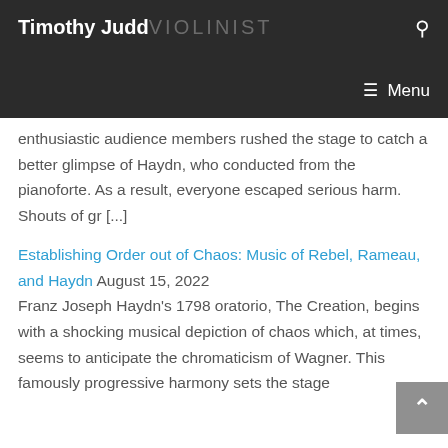Timothy Judd VIOLINIST
enthusiastic audience members rushed the stage to catch a better glimpse of Haydn, who conducted from the pianoforte. As a result, everyone escaped serious harm. Shouts of gr [...]
Establishing Order out of Chaos: Music of Rebel, Rameau, and Haydn August 15, 2022 Franz Joseph Haydn's 1798 oratorio, The Creation, begins with a shocking musical depiction of chaos which, at times, seems to anticipate the chromaticism of Wagner. This famously progressive harmony sets the stage